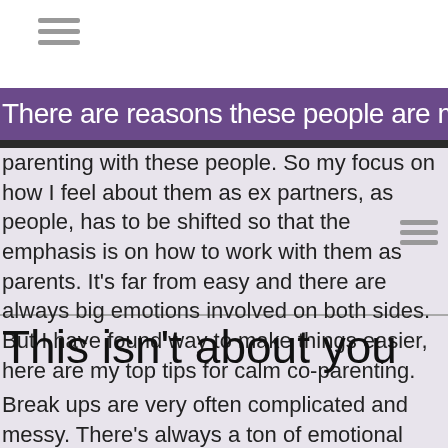There are reasons these people are my ex-partners, but
parenting with these people. So my focus on how I feel about them as ex partners, as people, has to be shifted so that the emphasis is on how to work with them as parents. It’s far from easy and there are always big emotions involved on both sides. But I have found way to make things easier, here are my top tips for calm co-parenting.
This isn’t about you
Break ups are very often complicated and messy. There’s always a ton of emotional stuff to work through and practical things that have to be done. Being married